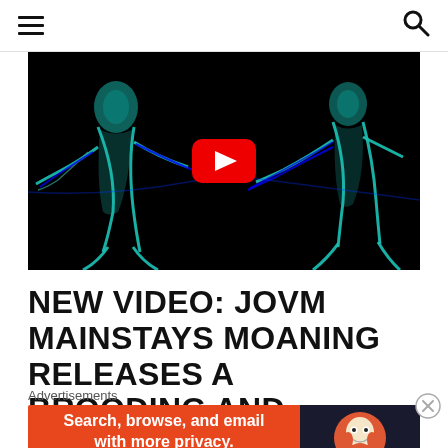Navigation header with hamburger menu and search icon
[Figure (screenshot): Video thumbnail showing two neon/tron-style figures on black background with YouTube play button overlay]
NEW VIDEO: JOVM MAINSTAYS MOANING RELEASES A BROODING AND INTROSPECTIVE SINGLE
Advertisements
[Figure (other): DuckDuckGo advertisement banner: 'Search, browse, and email with more privacy. All in One Free App' with DuckDuckGo logo on dark right panel]